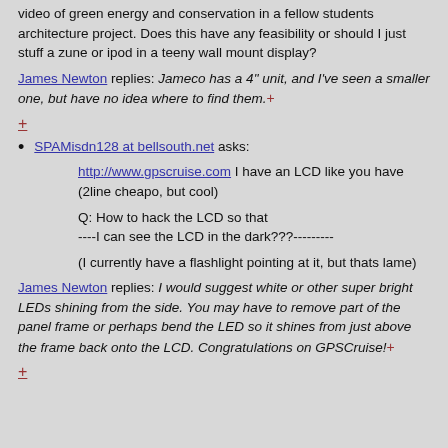video of green energy and conservation in a fellow students architecture project. Does this have any feasibility or should I just stuff a zune or ipod in a teeny wall mount display?
James Newton replies: Jameco has a 4" unit, and I've seen a smaller one, but have no idea where to find them. +
+
SPAMisdn128 at bellsouth.net asks:
http://www.gpscruise.com I have an LCD like you have (2line cheapo, but cool)
Q: How to hack the LCD so that ----I can see the LCD in the dark???---------
(I currently have a flashlight pointing at it, but thats lame)
James Newton replies: I would suggest white or other super bright LEDs shining from the side. You may have to remove part of the panel frame or perhaps bend the LED so it shines from just above the frame back onto the LCD. Congratulations on GPSCruise! +
+